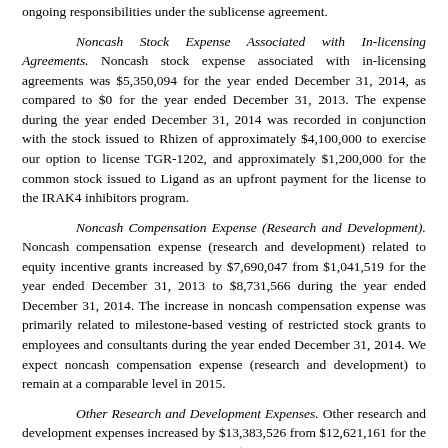ongoing responsibilities under the sublicense agreement.
Noncash Stock Expense Associated with In-licensing Agreements. Noncash stock expense associated with in-licensing agreements was $5,350,094 for the year ended December 31, 2014, as compared to $0 for the year ended December 31, 2013. The expense during the year ended December 31, 2014 was recorded in conjunction with the stock issued to Rhizen of approximately $4,100,000 to exercise our option to license TGR-1202, and approximately $1,200,000 for the common stock issued to Ligand as an upfront payment for the license to the IRAK4 inhibitors program.
Noncash Compensation Expense (Research and Development). Noncash compensation expense (research and development) related to equity incentive grants increased by $7,690,047 from $1,041,519 for the year ended December 31, 2013 to $8,731,566 during the year ended December 31, 2014. The increase in noncash compensation expense was primarily related to milestone-based vesting of restricted stock grants to employees and consultants during the year ended December 31, 2014. We expect noncash compensation expense (research and development) to remain at a comparable level in 2015.
Other Research and Development Expenses. Other research and development expenses increased by $13,383,526 from $12,621,161 for the year ended December 31, 2013 to $26,004,687 for the year ended December 31, 2014. The increase in other research and development expenses was due primarily to increased research and development expenses associated with TG-1101 and TGR-1202 of approximately $7,100,000 and $3,800,000, respectively. In addition, during the year ended December 31, 2014 we expensed $4,000,000 related to the upfront cash milestone payment to Rhizen to exercise the license